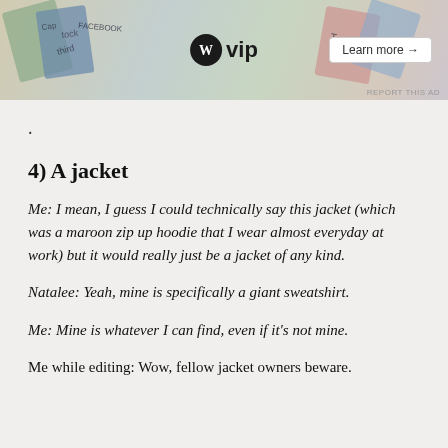[Figure (other): WordPress VIP advertisement banner with colorful magazine/publication covers in the background, WP VIP logo in center, and 'Learn more →' button on the right]
.
4) A jacket
Me: I mean, I guess I could technically say this jacket (which was a maroon zip up hoodie that I wear almost everyday at work) but it would really just be a jacket of any kind.
Natalee: Yeah, mine is specifically a giant sweatshirt.
Me: Mine is whatever I can find, even if it's not mine.
Me while editing: Wow, fellow jacket owners beware.